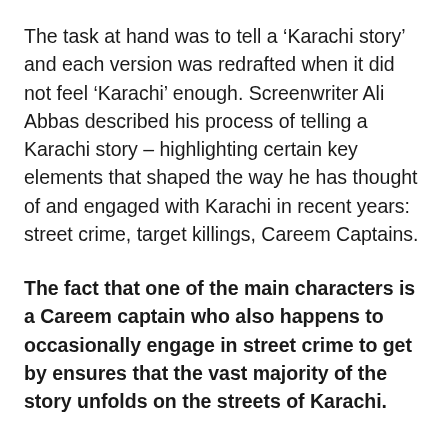The task at hand was to tell a ‘Karachi story’ and each version was redrafted when it did not feel ‘Karachi’ enough. Screenwriter Ali Abbas described his process of telling a Karachi story – highlighting certain key elements that shaped the way he has thought of and engaged with Karachi in recent years: street crime, target killings, Careem Captains.
The fact that one of the main characters is a Careem captain who also happens to occasionally engage in street crime to get by ensures that the vast majority of the story unfolds on the streets of Karachi.